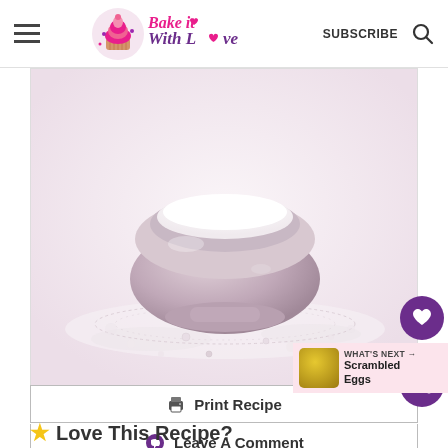Bake it With Love — SUBSCRIBE
[Figure (photo): A wooden bowl filled with white flour or powdered sugar, surrounded by scattered powder on a lace doily or decorative surface. Light pink/white washed-out background.]
Print Recipe
Leave A Comment
WHAT'S NEXT → Scrambled Eggs
6
Love This Recipe?